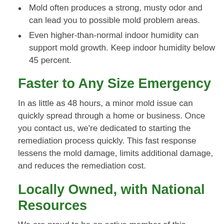Mold often produces a strong, musty odor and can lead you to possible mold problem areas.
Even higher-than-normal indoor humidity can support mold growth. Keep indoor humidity below 45 percent.
Faster to Any Size Emergency
In as little as 48 hours, a minor mold issue can quickly spread through a home or business. Once you contact us, we're dedicated to starting the remediation process quickly. This fast response lessens the mold damage, limits additional damage, and reduces the remediation cost.
Locally Owned, with National Resources
We are proud to be an active member of this community. SERVPRO of Southwest Dallas is locally owned and operated, so we're already nearby and ready to help Kessler residents and business owners with any size mold contamination.
We are proud to serve our local communities: